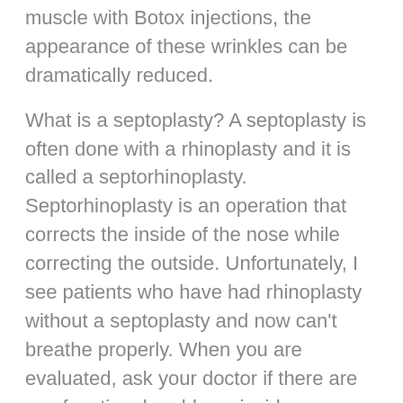muscle with Botox injections, the appearance of these wrinkles can be dramatically reduced.
What is a septoplasty? A septoplasty is often done with a rhinoplasty and it is called a septorhinoplasty. Septorhinoplasty is an operation that corrects the inside of the nose while correcting the outside. Unfortunately, I see patients who have had rhinoplasty without a septoplasty and now can't breathe properly. When you are evaluated, ask your doctor if there are any functional problems inside your nose so that they can be corrected at the same time. If your doctor is unable to correct them at the same time, you should probably seek another opinion.
Botox doesn't actually erase wrinkles. Since Botox is, of course, a treatment for wrinkles and fine lines, I initially figured a few injections would pull these unwanted imperfections right off my face. But as it turns out, for most patients, Botox is more preventative than restorative. Its active ingredient